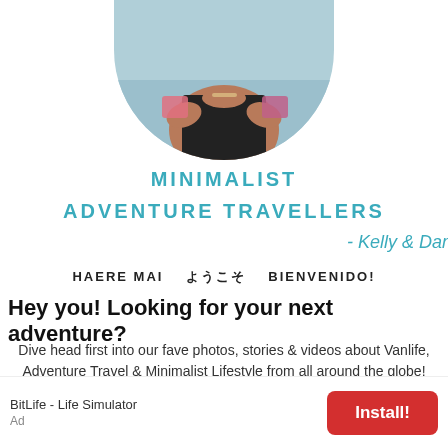[Figure (photo): Circular cropped profile photo of a woman sitting near water, wearing a black top and colorful patterned sleeves, with water/sea visible in background. Only lower half of circle visible at top of page.]
MINIMALIST
ADVENTURE TRAVELLERS
- Kelly & Dan
HAERE MAI  ようこそ  BIENVENIDO!
Hey you! Looking for your next adventure?
Dive head first into our fave photos, stories & videos about Vanlife, Adventure Travel & Minimalist Lifestyle from all around the globe!
BitLife - Life Simulator
Ad
Install!